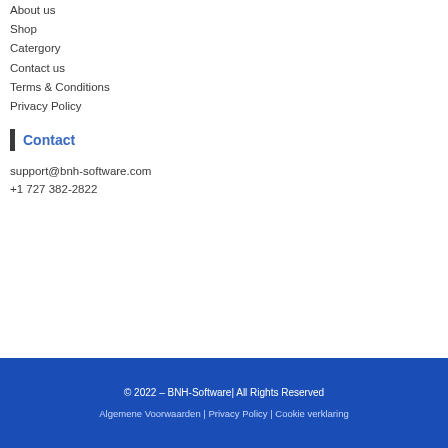About us
Shop
Catergory
Contact us
Terms & Conditions
Privacy Policy
Contact
support@bnh-software.com
+1 727 382-2822
© 2022 – BNH-Software| All Rights Reserved
Algemene Voorwaarden | Privacy Policy | Cookie verklaring